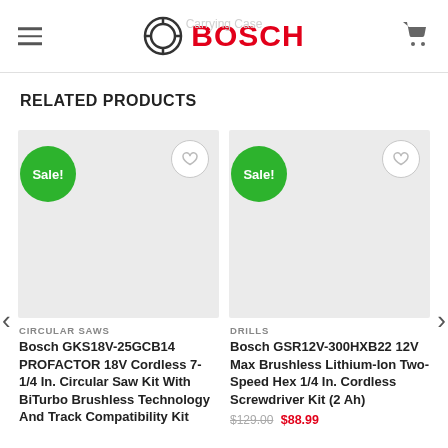BOSCH
RELATED PRODUCTS
[Figure (screenshot): Product card for Bosch GKS18V-25GCB14 PROFACTOR 18V Cordless 7-1/4 In. Circular Saw Kit With BiTurbo Brushless Technology And Track Compatibility Kit, category: CIRCULAR SAWS, with green Sale! badge and wishlist heart button, light gray product image area]
[Figure (screenshot): Product card for Bosch GSR12V-300HXB22 12V Max Brushless Lithium-Ion Two-Speed Hex 1/4 In. Cordless Screwdriver Kit (2 Ah), category: DRILLS, with green Sale! badge and wishlist heart button, light gray product image area, price $129.00 crossed out and $88.99 in red]